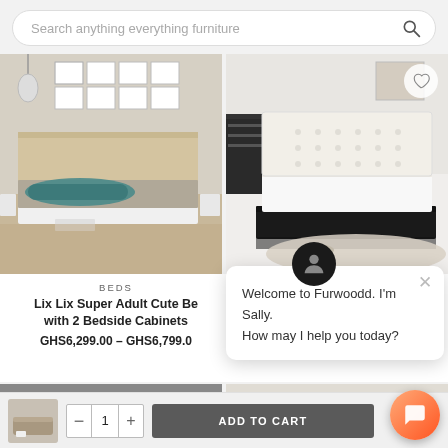[Figure (screenshot): Search bar at top reading 'Search anything everything furniture' with magnifying glass icon]
[Figure (photo): Left product photo: modern platform bed with wooden headboard, teal blanket on grey mattress, white platform base, framed pictures on wall behind]
[Figure (photo): Right product photo: white tufted headboard bed with black lacquer platform base on white shag rug, heart/favorites icon top right]
BEDS
Lix Lix Super Adult Cute Be with 2 Bedside Cabinets
GHS6,299.00 – GHS6,799.00
[Figure (screenshot): Chat popup with avatar icon showing: 'Welcome to Furwoodd. I'm Sally. How may I help you today?' with X close button]
[Figure (photo): Bottom left partial product photo showing dark furniture/bed]
[Figure (photo): Bottom right partial product photo showing bedroom scene]
[Figure (screenshot): Add to cart bar at bottom with product thumbnail, quantity control showing 1, and ADD TO CART button]
[Figure (screenshot): Orange chat FAB button at bottom right]